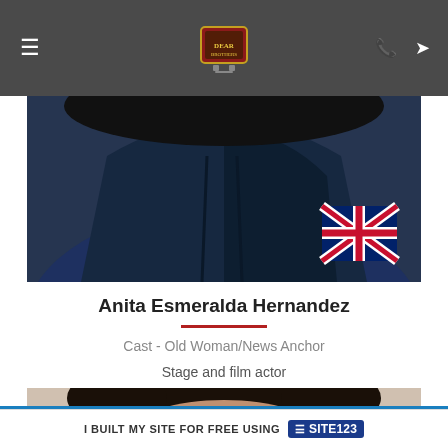Navigation bar with hamburger menu, logo, phone and location icons
[Figure (photo): Close-up photo of a person wearing a dark navy hoodie with a Union Jack (British flag) patch visible on the shoulder. Dark hair visible. Cropped at top.]
Anita Esmeralda Hernandez
Cast - Old Woman/News Anchor
Stage and film actor
[Figure (photo): Partially visible photo of a person with dark curly hair, cropped at the top of the frame.]
I BUILT MY SITE FOR FREE USING SITE123